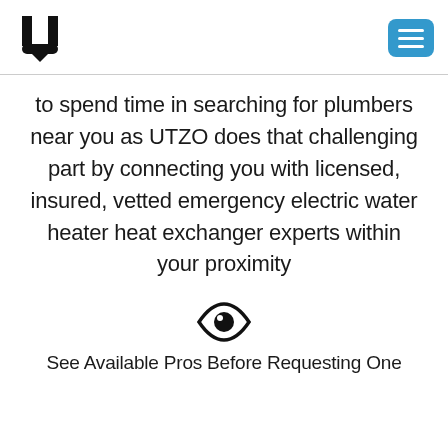UTZO logo and menu button
to spend time in searching for plumbers near you as UTZO does that challenging part by connecting you with licensed, insured, vetted emergency electric water heater heat exchanger experts within your proximity
[Figure (illustration): Eye icon]
See Available Pros Before Requesting One